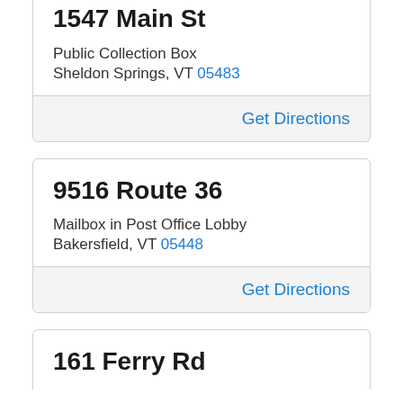1547 Main St
Public Collection Box
Sheldon Springs, VT 05483
Get Directions
9516 Route 36
Mailbox in Post Office Lobby
Bakersfield, VT 05448
Get Directions
161 Ferry Rd